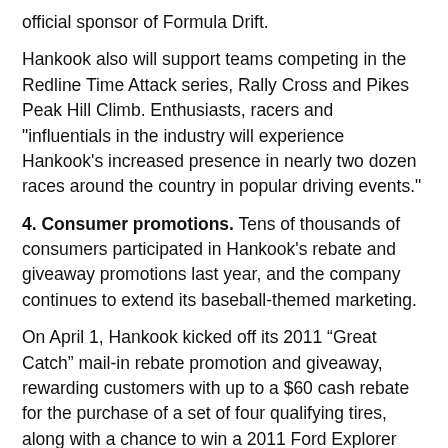official sponsor of Formula Drift.
Hankook also will support teams competing in the Redline Time Attack series, Rally Cross and Pikes Peak Hill Climb. Enthusiasts, racers and "influentials in the industry will experience Hankook's increased presence in nearly two dozen races around the country in popular driving events."
4. Consumer promotions. Tens of thousands of consumers participated in Hankook's rebate and giveaway promotions last year, and the company continues to extend its baseball-themed marketing.
On April 1, Hankook kicked off its 2011 “Great Catch” mail-in rebate promotion and giveaway, rewarding customers with up to a $60 cash rebate for the purchase of a set of four qualifying tires, along with a chance to win a 2011 Ford Explorer Limited.
5. Times Square billboard. Hankook’s “Driving Emotion” tagline already has become a fixture in the advertising mecca of brands that make up the landscape in the heart of